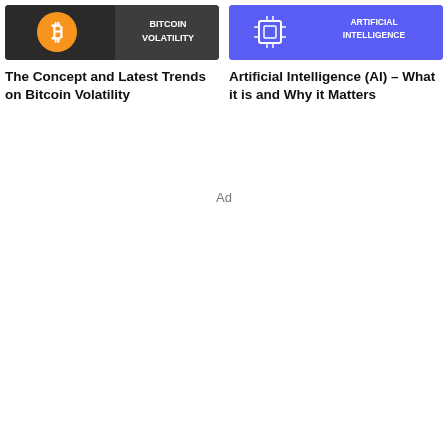[Figure (illustration): Bitcoin Volatility card thumbnail: dark background with orange Bitcoin logo on left, text 'BITCOIN VOLATILITY' in white bold on right]
The Concept and Latest Trends on Bitcoin Volatility
[Figure (illustration): Artificial Intelligence card thumbnail: purple/blue background with circuit/AI chip icon on left, text 'ARTIFICIAL INTELLIGENCE' in white bold on right]
Artificial Intelligence (AI) – What it is and Why it Matters
Ad